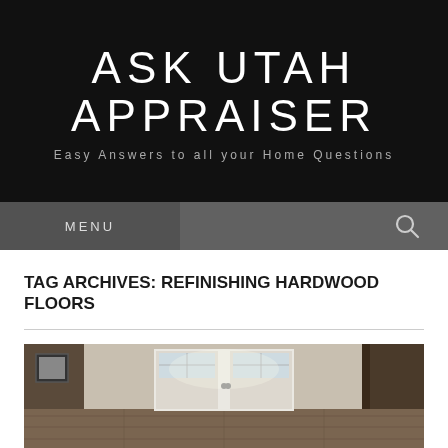ASK UTAH APPRAISER
Easy Answers to all your Home Questions
MENU
TAG ARCHIVES: REFINISHING HARDWOOD FLOORS
[Figure (photo): Interior photo showing a hallway or entryway with hardwood floors, white French doors with glass panels, and dark trim. Natural light coming through the door.]